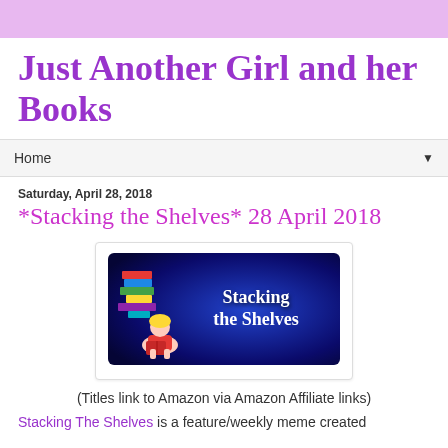Just Another Girl and her Books
Home ▼
Saturday, April 28, 2018
*Stacking the Shelves* 28 April 2018
[Figure (illustration): Stacking the Shelves banner image with a cartoon girl reading a book and a stack of colorful books, with the text 'Stacking the Shelves' on a dark blue background]
(Titles link to Amazon via Amazon Affiliate links)
Stacking The Shelves is a feature/weekly meme created